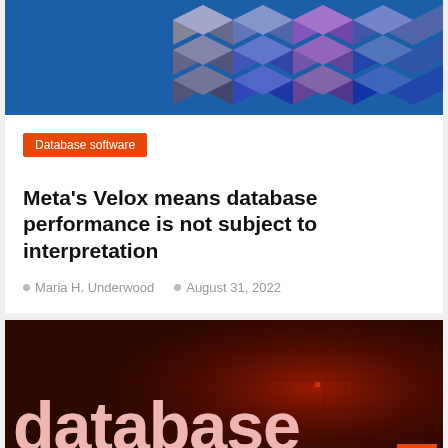[Figure (illustration): Hero image with blue background and 3D isometric stacked blocks/cubes in blue, purple, and gray tones]
Database software
Meta's Velox means database performance is not subject to interpretation
Maria H. Underwood   August 31, 2022
[Figure (photo): Dark red background with large bold white text reading 'database' and below it 'TRENDS AND APPLICATIONS'. An orange scroll button is visible in the bottom right corner.]